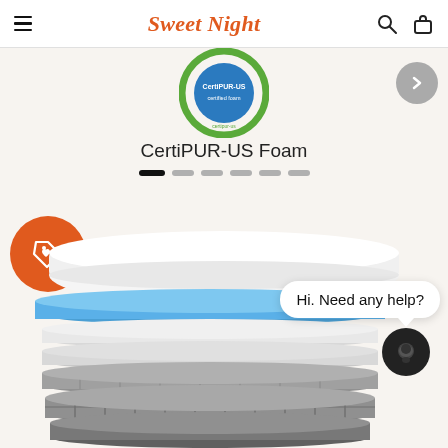Sweet Night
[Figure (illustration): CertiPUR-US certification badge - green circle with blue logo in center]
CertiPUR-US Foam
[Figure (illustration): Carousel indicator dots - 6 dots, first one active/black, rest gray]
[Figure (illustration): Orange circular promotional/tag button with heart tag icon]
[Figure (illustration): Exploded view of mattress layers: white top layer, blue memory foam layer, multiple gray/white support foam layers, bottom spring layer]
Hi. Need any help?